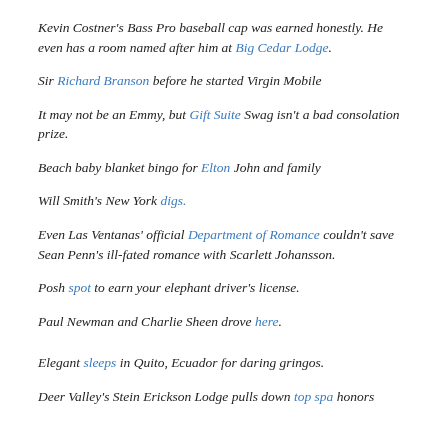Kevin Costner's Bass Pro baseball cap was earned honestly. He even has a room named after him at Big Cedar Lodge.
Sir Richard Branson before he started Virgin Mobile
It may not be an Emmy, but Gift Suite Swag isn't a bad consolation prize.
Beach baby blanket bingo for Elton John and family
Will Smith's New York digs.
Even Las Ventanas' official Department of Romance couldn't save Sean Penn's ill-fated romance with Scarlett Johansson.
Posh spot to earn your elephant driver's license.
Paul Newman and Charlie Sheen drove here.
Elegant sleeps in Quito, Ecuador for daring gringos.
Deer Valley's Stein Erickson Lodge pulls down top spa honors